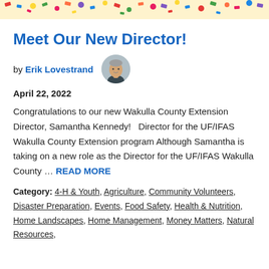[Figure (illustration): Colorful confetti banner strip across the top of the page]
Meet Our New Director!
by Erik Lovestrand [with avatar photo of author]
April 22, 2022
Congratulations to our new Wakulla County Extension Director, Samantha Kennedy!   Director for the UF/IFAS Wakulla County Extension program Although Samantha is taking on a new role as the Director for the UF/IFAS Wakulla County … READ MORE
Category: 4-H & Youth, Agriculture, Community Volunteers, Disaster Preparation, Events, Food Safety, Health & Nutrition, Home Landscapes, Home Management, Money Matters, Natural Resources,